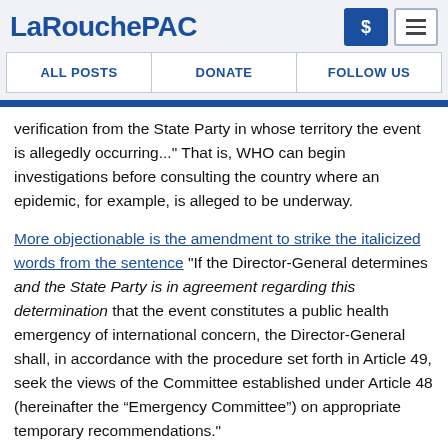LaRouchePAC
ALL POSTS   DONATE   FOLLOW US
verification from the State Party in whose territory the event is allegedly occurring..." That is, WHO can begin investigations before consulting the country where an epidemic, for example, is alleged to be underway.
More objectionable is the amendment to strike the italicized words from the sentence "If the Director-General determines and the State Party is in agreement regarding this determination that the event constitutes a public health emergency of international concern, the Director-General shall, in accordance with the procedure set forth in Article 49, seek the views of the Committee established under Article 48 (hereinafter the “Emergency Committee”) on appropriate temporary recommendations."